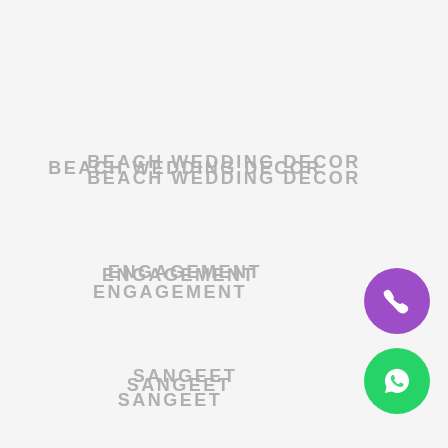BEACH WEDDING DECOR
ENGAGEMENT
SANGEET
BIRTHDAY/ANNIVERSARY
[Figure (illustration): Purple circular FAB button with white phone handset icon]
[Figure (illustration): Green circular FAB button with white WhatsApp speech bubble icon]